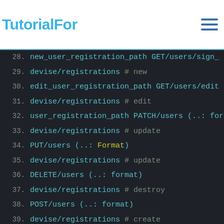TutorialFor
[Figure (screenshot): Code editor showing Ruby on Rails routes output, lines 28-45, with line numbers and syntax highlighting on dark background.]